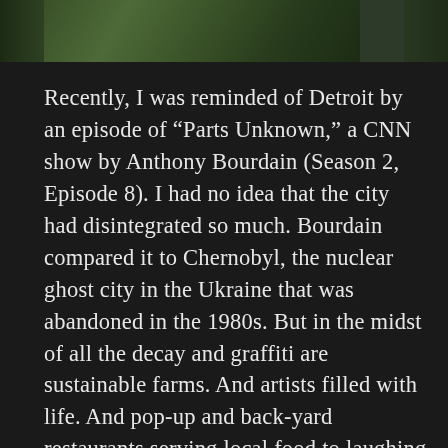[Figure (photo): Partial view of a photo showing green leafy plants or vegetation against a dark background, cropped at the top of the page.]
Recently, I was reminded of Detroit by an episode of “Parts Unknown,” a CNN show by Anthony Bourdain (Season 2, Episode 8). I had no idea that the city had disintegrated so much. Bourdain compared it to Chernobyl, the nuclear ghost city in the Ukraine that was abandoned in the 1980s. But in the midst of all the decay and graffiti are sustainable farms. And artists filled with life. And pop-up and back-yard restaurants serving local food to laughing customers. There is grit and hope and a strong sense of community among all of that bitter Rust. I’m not talking about boutique food or a frou frou future, the latest fad in local